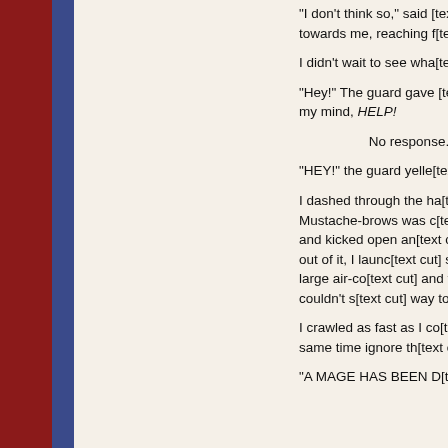“I don’t think so,” said [text continues] towards me, reaching f[text continues]
I didn’t wait to see wha[text continues]
“Hey!” The guard gave [text continues] with my mind, HELP!
No response.
“HEY!” the guard yelle[text continues]
I dashed through the ha[text continues] Mustache-brows was c[text continues] left and kicked open an[text continues] myself out of it, I launc[text continues] school had large air-co[text continues] and though I couldn’t s[text continues] way to the door.
I crawled as fast as I co[text continues] the same time ignore th[text continues]
“A MAGE HAS BEEN D[text continues]